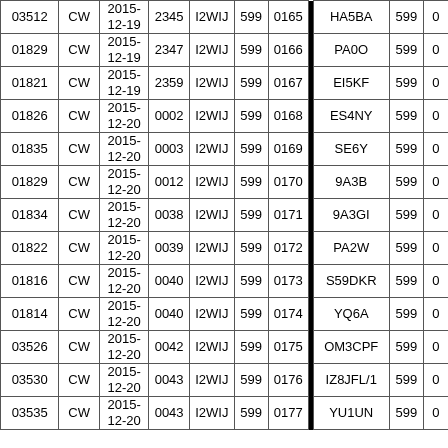| Freq | Mode | Date | Time | Call | RST | Nr |  | Call | RST | Nr |
| --- | --- | --- | --- | --- | --- | --- | --- | --- | --- | --- |
| 03512 | CW | 2015-12-19 | 2345 | I2WIJ | 599 | 0165 |  | HA5BA | 599 | 0... |
| 01829 | CW | 2015-12-19 | 2347 | I2WIJ | 599 | 0166 |  | PA0O | 599 | 0... |
| 01821 | CW | 2015-12-19 | 2359 | I2WIJ | 599 | 0167 |  | EI5KF | 599 | 0... |
| 01826 | CW | 2015-12-20 | 0002 | I2WIJ | 599 | 0168 |  | ES4NY | 599 | 0... |
| 01835 | CW | 2015-12-20 | 0003 | I2WIJ | 599 | 0169 |  | SE6Y | 599 | 0... |
| 01829 | CW | 2015-12-20 | 0012 | I2WIJ | 599 | 0170 |  | 9A3B | 599 | 0... |
| 01834 | CW | 2015-12-20 | 0038 | I2WIJ | 599 | 0171 |  | 9A3GI | 599 | 0... |
| 01822 | CW | 2015-12-20 | 0039 | I2WIJ | 599 | 0172 |  | PA2W | 599 | 0... |
| 01816 | CW | 2015-12-20 | 0040 | I2WIJ | 599 | 0173 |  | S59DKR | 599 | 0... |
| 01814 | CW | 2015-12-20 | 0040 | I2WIJ | 599 | 0174 |  | YQ6A | 599 | 0... |
| 03526 | CW | 2015-12-20 | 0042 | I2WIJ | 599 | 0175 |  | OM3CPF | 599 | 0... |
| 03530 | CW | 2015-12-20 | 0043 | I2WIJ | 599 | 0176 |  | IZ8JFL/1 | 599 | 0... |
| 03535 | CW | 2015-12-20 | 0043 | I2WIJ | 599 | 0177 |  | YU1UN | 599 | 0... |